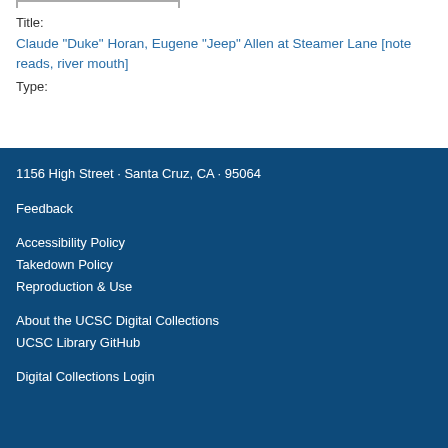Title:
Claude "Duke" Horan, Eugene "Jeep" Allen at Steamer Lane [note reads, river mouth]
Type:
1156 High Street · Santa Cruz, CA · 95064
Feedback
Accessibility Policy
Takedown Policy
Reproduction & Use
About the UCSC Digital Collections
UCSC Library GitHub
Digital Collections Login